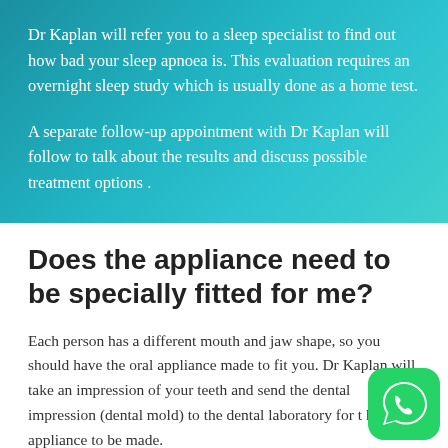Dr Kaplan will refer you to a sleep specialist to find out how bad your sleep apnoea is. This evaluation requires an overnight sleep study which is usually done as a home test.
A separate follow-up appointment with Dr Kaplan will follow to talk about the results and discuss possible treatment options .
Does the appliance need to be specially fitted for me?
Each person has a different mouth and jaw shape, so you should have the oral appliance made to fit you. Dr Kaplan will take an impression of your teeth and send the dental impression (dental mold) to the dental laboratory for the appliance to be made.
[Figure (logo): WhatsApp logo icon — green rounded square with white phone handset inside speech bubble]